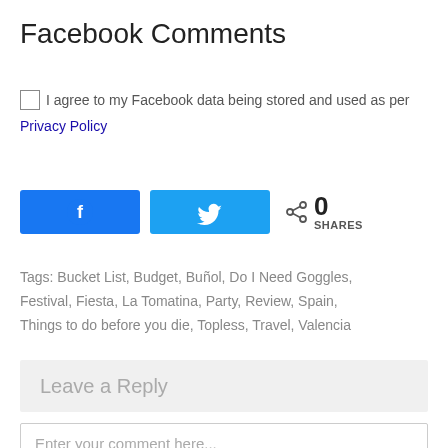Facebook Comments
I agree to my Facebook data being stored and used as per Privacy Policy
[Figure (other): Facebook share button (blue) and Twitter share button (light blue), with a share icon and count showing 0 SHARES]
Tags: Bucket List, Budget, Buñol, Do I Need Goggles, Festival, Fiesta, La Tomatina, Party, Review, Spain, Things to do before you die, Topless, Travel, Valencia
Leave a Reply
Enter your comment here...